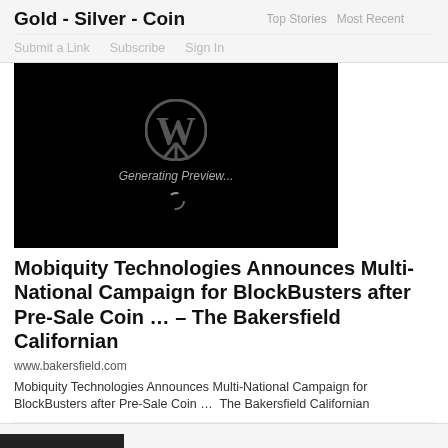Gold - Silver - Coin | Top Stories  Most Recent
Submit a Link   Subscribe   Sign In
[Figure (screenshot): Black preview image with WordPress logo and 'Generating Preview...' text with spinner]
Mobiquity Technologies Announces Multi-National Campaign for BlockBusters after Pre-Sale Coin … – The Bakersfield Californian
www.bakersfield.com
Mobiquity Technologies Announces Multi-National Campaign for BlockBusters after Pre-Sale Coin …  The Bakersfield Californian
5  Like  Save  Share